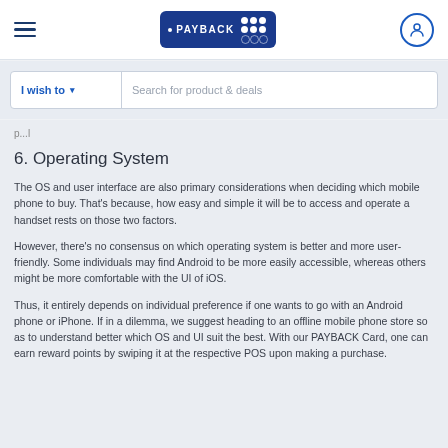PAYBACK navigation header with hamburger menu, PAYBACK logo, and user icon
I wish to  Search for product & deals
p...l
6. Operating System
The OS and user interface are also primary considerations when deciding which mobile phone to buy. That's because, how easy and simple it will be to access and operate a handset rests on those two factors.
However, there's no consensus on which operating system is better and more user-friendly. Some individuals may find Android to be more easily accessible, whereas others might be more comfortable with the UI of iOS.
Thus, it entirely depends on individual preference if one wants to go with an Android phone or iPhone. If in a dilemma, we suggest heading to an offline mobile phone store so as to understand better which OS and UI suit the best. With our PAYBACK Card, one can earn reward points by swiping it at the respective POS upon making a purchase.